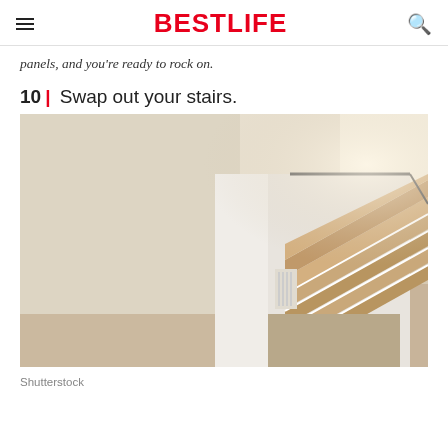BESTLIFE
panels, and you're ready to rock on.
10 | Swap out your stairs.
[Figure (photo): Interior photo of a modern home showing a floating staircase with light wood steps and white risers/structure, viewed from below at floor level. The room has light beige walls, a smooth floor, and warm lighting from above.]
Shutterstock